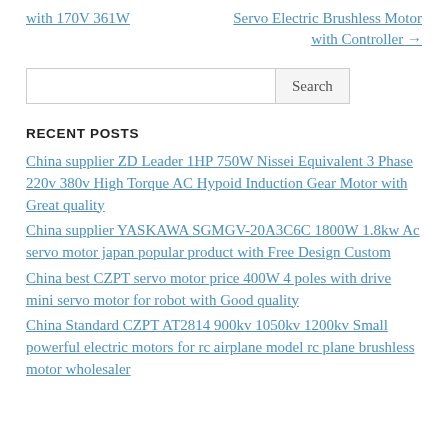with 170V 361W
Servo Electric Brushless Motor with Controller →
Search
RECENT POSTS
China supplier ZD Leader 1HP 750W Nissei Equivalent 3 Phase 220v 380v High Torque AC Hypoid Induction Gear Motor with Great quality
China supplier YASKAWA SGMGV-20A3C6C 1800W 1.8kw Ac servo motor japan popular product with Free Design Custom
China best CZPT servo motor price 400W 4 poles with drive mini servo motor for robot with Good quality
China Standard CZPT AT2814 900kv 1050kv 1200kv Small powerful electric motors for rc airplane model rc plane brushless motor wholesaler